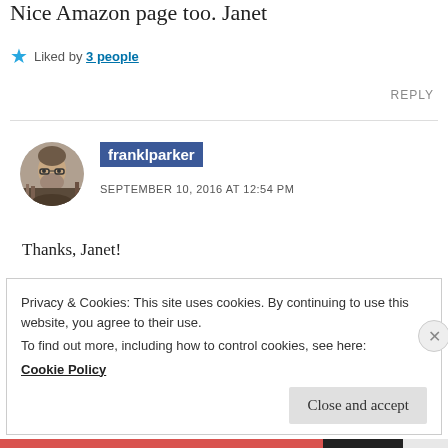Nice Amazon page too. Janet
★ Liked by 3 people
REPLY
[Figure (photo): Circular avatar photo of a bearded man with glasses]
franklparker
SEPTEMBER 10, 2016 AT 12:54 PM
Thanks, Janet!
Privacy & Cookies: This site uses cookies. By continuing to use this website, you agree to their use.
To find out more, including how to control cookies, see here: Cookie Policy
Close and accept